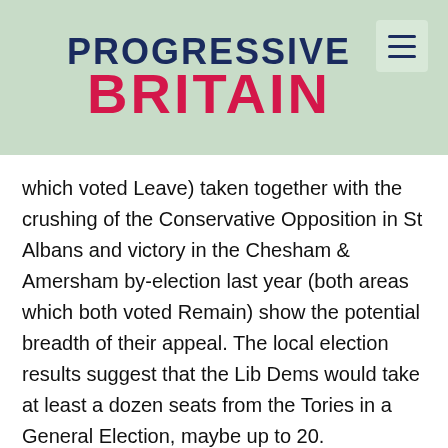[Figure (logo): Progressive Britain logo with dark blue 'PROGRESSIVE' text and red 'BRITAIN' text on a light green background, with a hamburger menu icon in the top right]
which voted Leave) taken together with the crushing of the Conservative Opposition in St Albans and victory in the Chesham & Amersham by-election last year (both areas which both voted Remain) show the potential breadth of their appeal. The local election results suggest that the Lib Dems would take at least a dozen seats from the Tories in a General Election, maybe up to 20.
The revival of the Lib Dems is important for Labour because the evidence from all the recent by-elections, shows that there is now a significant amount of anti-Tory tactical voting happening. This was true not just in the constituencies which the Lib